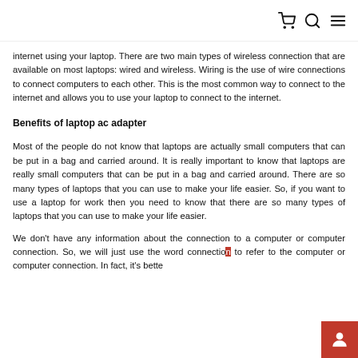[cart] [search] [menu]
internet using your laptop. There are two main types of wireless connection that are available on most laptops: wired and wireless. Wiring is the use of wire connections to connect computers to each other. This is the most common way to connect to the internet and allows you to use your laptop to connect to the internet.
Benefits of laptop ac adapter
Most of the people do not know that laptops are actually small computers that can be put in a bag and carried around. It is really important to know that laptops are really small computers that can be put in a bag and carried around. There are so many types of laptops that you can use to make your life easier. So, if you want to use a laptop for work then you need to know that there are so many types of laptops that you can use to make your life easier.
We don't have any information about the connection to a computer or computer connection. So, we will just use the word connection to refer to the computer or computer connection. In fact, it's bette